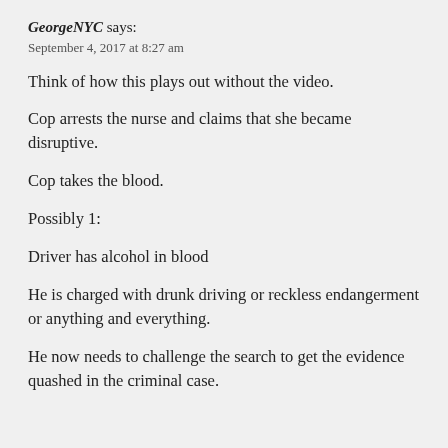GeorgeNYC says:
September 4, 2017 at 8:27 am
Think of how this plays out without the video.
Cop arrests the nurse and claims that she became disruptive.
Cop takes the blood.
Possibly 1:
Driver has alcohol in blood
He is charged with drunk driving or reckless endangerment or anything and everything.
He now needs to challenge the search to get the evidence quashed in the criminal case.